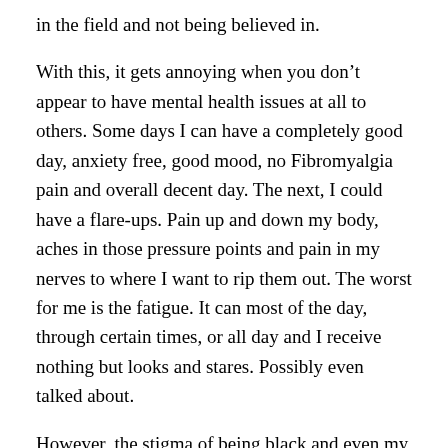in the field and not being believed in.
With this, it gets annoying when you don’t appear to have mental health issues at all to others. Some days I can have a completely good day, anxiety free, good mood, no Fibromyalgia pain and overall decent day. The next, I could have a flare-ups. Pain up and down my body, aches in those pressure points and pain in my nerves to where I want to rip them out. The worst for me is the fatigue. It can most of the day, through certain times, or all day and I receive nothing but looks and stares. Possibly even talked about.
However, the stigma of being black and even my age allows others to think it’s just a phase or I need to “chill out” or “you are too young.” No one is “too young”. This is a truth I need the world to know.